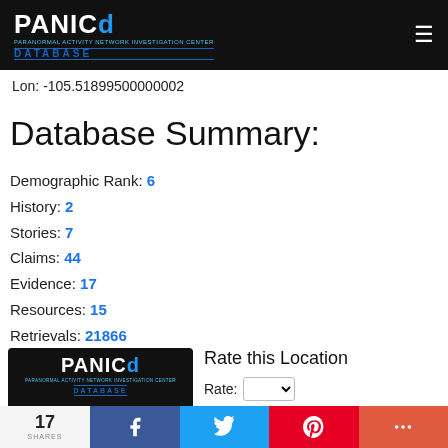PANICd DATABASE
Lon: -105.51899500000002
Database Summary:
Demographic Rank: 6
History: 2
Stories: 7
Claims: 44
Evidence: 17
Resources: 15
Retrievals: 21866
Vistor Rating: 4.0
Votes: 4
[Figure (screenshot): PANICd logo card showing The Stanley Hotel, PANICd#: 1032]
Rate this Location
Rate: [dropdown]
Submit Rate
17 SHARES | Share on Facebook | Share on Twitter | Share on Pinterest | More